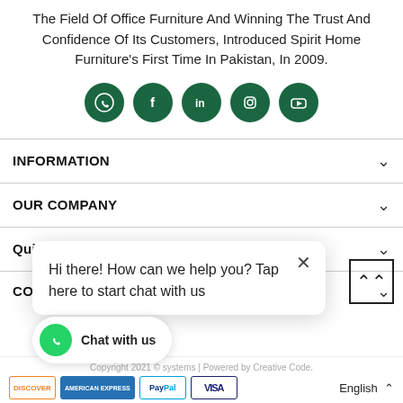The Field Of Office Furniture And Winning The Trust And Confidence Of Its Customers, Introduced Spirit Home Furniture's First Time In Pakistan, In 2009.
[Figure (infographic): Five dark green circular social media icons: WhatsApp, Facebook, LinkedIn, Instagram, YouTube]
INFORMATION
OUR COMPANY
Quick Links
CONTACT US
Hi there! How can we help you? Tap here to start chat with us
Chat with us
Copyright 2021 © systems | Powered by Creative Code.
English